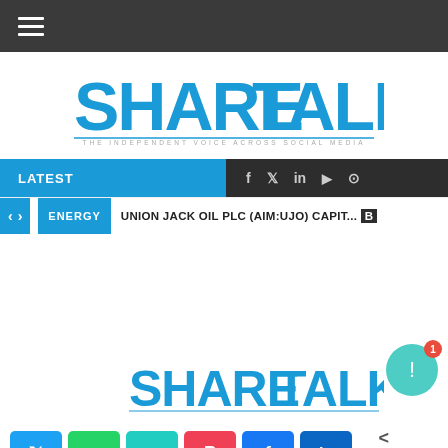[Figure (screenshot): Share Talk website header screenshot showing navigation bar, logo, latest ticker bar, social share buttons]
SHARE TALK - THE INDEPENDENT VOICE ACROSS SOCIAL MEDIA
LATEST | ENERGY | UNION JACK OIL PLC (AIM:UJO) CAPIT...
[Figure (logo): Share Talk logo in blue]
0 SHARES